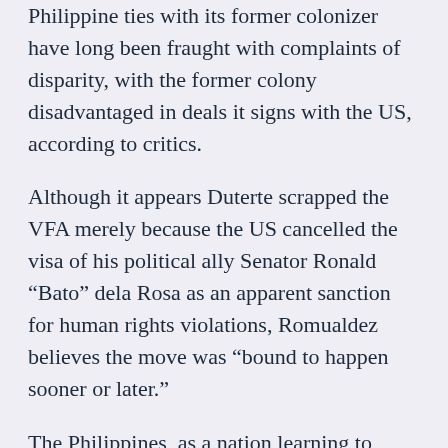Philippine ties with its former colonizer have long been fraught with complaints of disparity, with the former colony disadvantaged in deals it signs with the US, according to critics.
Although it appears Duterte scrapped the VFA merely because the US cancelled the visa of his political ally Senator Ronald “Bato” dela Rosa as an apparent sanction for human rights violations, Romualdez believes the move was “bound to happen sooner or later.”
The Philippines, as a nation learning to assert itself more strongly in the global arena, would naturally seek better arrangements with other countries, especially one that’s had great influence over it like the US.
“I really believe in our relationship [with the